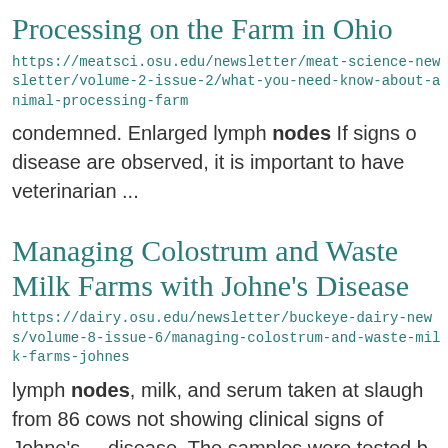Processing on the Farm in Ohio
https://meatsci.osu.edu/newsletter/meat-science-newsletter/volume-2-issue-2/what-you-need-know-about-animal-processing-farm
condemned. Enlarged lymph nodes If signs o disease are observed, it is important to have veterinarian ...
Managing Colostrum and Waste Milk Farms with Johne's Disease
https://dairy.osu.edu/newsletter/buckeye-dairy-news/volume-8-issue-6/managing-colostrum-and-waste-milk-farms-johnes
lymph nodes, milk, and serum taken at slaugh from 86 cows not showing clinical signs of Johne's ... disease. The samples were tested b